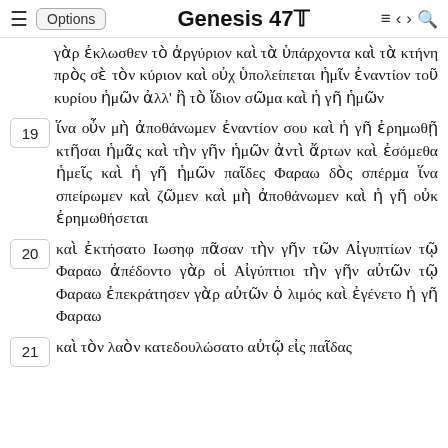Genesis 47
γὰρ ἐκλωσθεν τὸ ἀργύριον καὶ τὰ ὑπάρχοντα καὶ τὰ κτήνη πρὸς σὲ τὸν κύριον καὶ οὐχ ὑπολείπεται ἡμῖν ἐναντίον τοῦ κυρίου ἡμῶν ἀλλ' ἢ τὸ ἴδιον σῶμα καὶ ἡ γῆ ἡμῶν
19 ἵνα οὖν μὴ ἀποθάνωμεν ἐναντίον σου καὶ ἡ γῆ ἐρημωθῇ κτῆσαι ἡμᾶς καὶ τὴν γῆν ἡμῶν ἀντὶ ἄρτων καὶ ἐσόμεθα ἡμεῖς καὶ ἡ γῆ ἡμῶν παῖδες Φαραω δὸς σπέρμα ἵνα σπείρωμεν καὶ ζῶμεν καὶ μὴ ἀποθάνωμεν καὶ ἡ γῆ οὐκ ἐρημωθήσεται
20 καὶ ἐκτήσατο Ιωσηφ πᾶσαν τὴν γῆν τῶν Αἰγυπτίων τῷ Φαραω ἀπέδοντο γὰρ οἱ Αἰγύπτιοι τὴν γῆν αὐτῶν τῷ Φαραω ἐπεκράτησεν γὰρ αὐτῶν ὁ λιμός καὶ ἐγένετο ἡ γῆ Φαραω
21 καὶ τὸν λαὸν κατεδουλώσατο αὐτῷ εἰς παῖδας